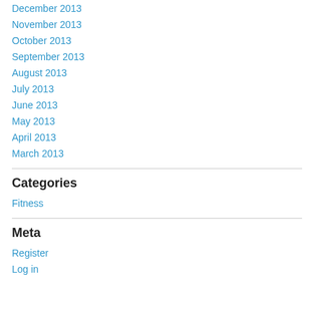December 2013
November 2013
October 2013
September 2013
August 2013
July 2013
June 2013
May 2013
April 2013
March 2013
Categories
Fitness
Meta
Register
Log in